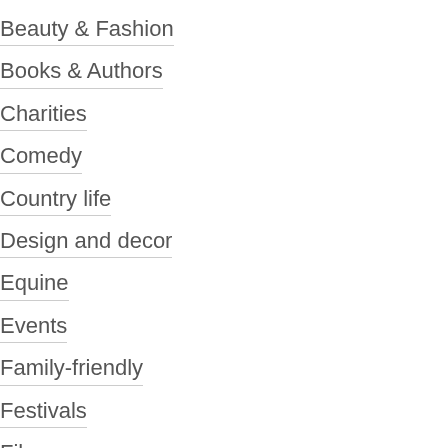Beauty & Fashion
Books & Authors
Charities
Comedy
Country life
Design and decor
Equine
Events
Family-friendly
Festivals
Film
Food
Health & Wellness
Heritage & hist…